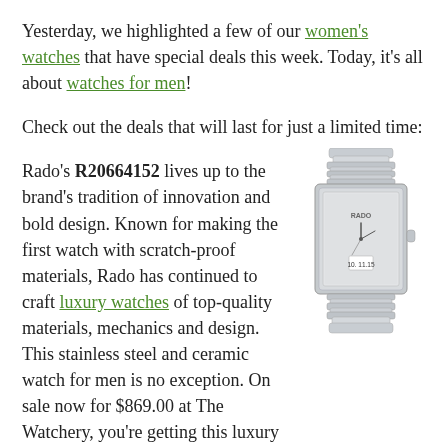Yesterday, we highlighted a few of our women's watches that have special deals this week. Today, it's all about watches for men!
Check out the deals that will last for just a limited time:
Rado's R20664152 lives up to the brand's tradition of innovation and bold design. Known for making the first watch with scratch-proof materials, Rado has continued to craft luxury watches of top-quality materials, mechanics and design. This stainless steel and ceramic watch for men is no exception. On sale now for $869.00 at The Watchery, you're getting this luxury timepiece at a 57% discount.
[Figure (photo): Silver stainless steel Rado men's watch with rectangular face and integrated bracelet]
[Figure (photo): Invicta men's watch with blue accents, partially visible at bottom left]
If you're looking for something a bit bigger and bolder, Invicta's 12900 may be just the